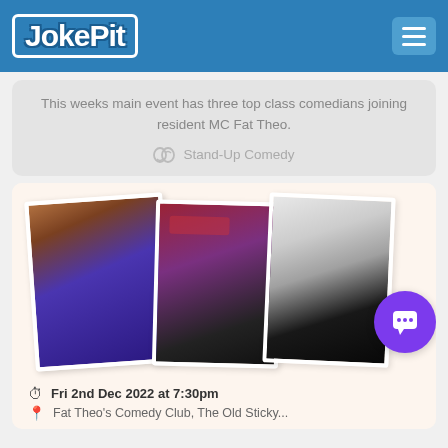JokePit
This weeks main event has three top class comedians joining resident MC Fat Theo.
Stand-Up Comedy
[Figure (photo): Three comedians: a Black man in purple sweater smiling, a red-haired woman performing stand-up on stage, and a young man in a black suit giving thumbs up (black and white photo). A purple chat bubble icon overlays bottom right.]
Fri 2nd Dec 2022 at 7:30pm
Fat Theo's Comedy Club, The Old Sticky...